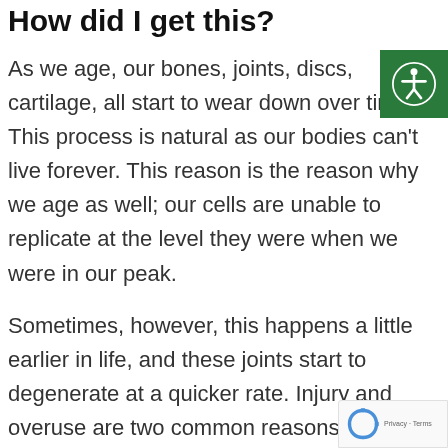How did I get this?
As we age, our bones, joints, discs, cartilage, all start to wear down over time. This process is natural as our bodies can't live forever. This reason is the reason why we age as well; our cells are unable to replicate at the level they were when we were in our peak.
Sometimes, however, this happens a little earlier in life, and these joints start to degenerate at a quicker rate. Injury and overuse are two common reasons why this may occur, meaning